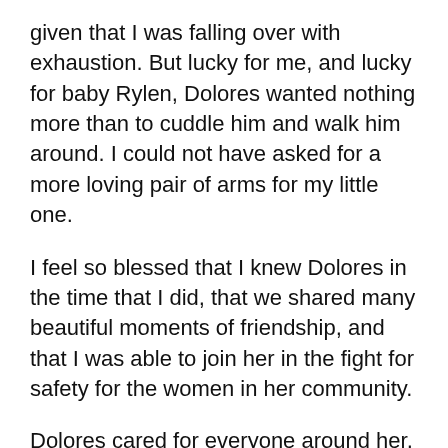given that I was falling over with exhaustion. But lucky for me, and lucky for baby Rylen, Dolores wanted nothing more than to cuddle him and walk him around. I could not have asked for a more loving pair of arms for my little one.
I feel so blessed that I knew Dolores in the time that I did, that we shared many beautiful moments of friendship, and that I was able to join her in the fight for safety for the women in her community.
Dolores cared for everyone around her, and she was endlessly committed to making the world a better place for her sisters and brothers. I will continue doing this important work in her honour, and carry her spirit with me always.